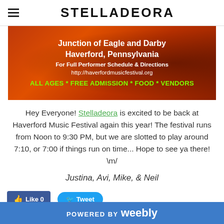STELLADEORA
[Figure (infographic): Orange/red fiery background banner with text: Junction of Eagle and Darby, Haverford, Pennsylvania, For Full Performer Schedule & Directions, http://haverfordmusicfestival.org, ALL AGES * FREE ADMISSION * FOOD * VENDORS]
Hey Everyone! Stelladeora is excited to be back at Haverford Music Festival again this year! The festival runs from Noon to 9:30 PM, but we are slotted to play around 7:10, or 7:00 if things run on time... Hope to see ya there! \m/
Justina, Avi, Mike, & Neil
POWERED BY weebly